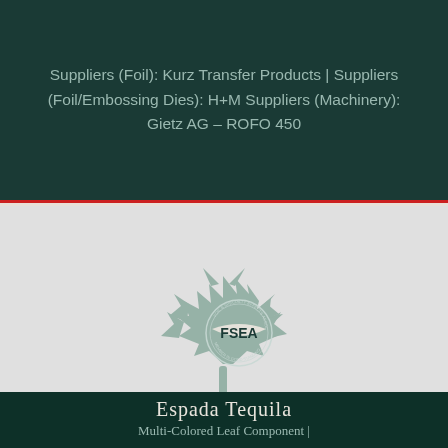Suppliers (Foil): Kurz Transfer Products | Suppliers (Foil/Embossing Dies): H+M Suppliers (Machinery): Gietz AG – ROFO 450
[Figure (logo): FSEA (Foil & Specialty Effects Association) logo — a grey maple leaf with FSEA seal/stamp overlaid in the center, on a dark green background]
Espada Tequila
Multi-Colored Leaf Component |